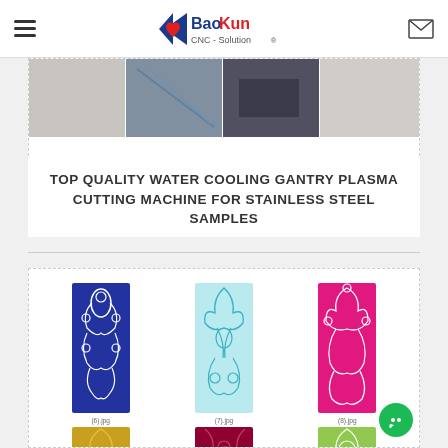BaoKun CNC - Solution
[Figure (photo): Product images of water cooling gantry plasma cutting machine for stainless steel]
TOP QUALITY WATER COOLING GANTRY PLASMA CUTTING MACHINE FOR STAINLESS STEEL SAMPLES
[Figure (photo): Decorative CNC cut pattern samples in various colors: blue, cyan, pink, gold, purple/red, green]